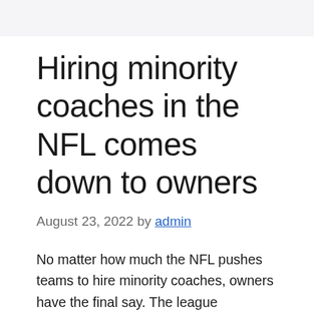Hiring minority coaches in the NFL comes down to owners
August 23, 2022 by admin
No matter how much the NFL pushes teams to hire minority coaches, owners have the final say. The league established the Rooney Rule in 2003 and has expanded it several times over the years to encourage teams to